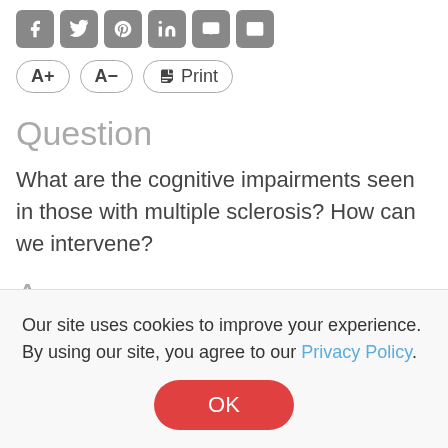Social share icons and text sizing controls
Question
What are the cognitive impairments seen in those with multiple sclerosis? How can we intervene?
Answer
Patients with MS have been shown to have
Our site uses cookies to improve your experience. By using our site, you agree to our Privacy Policy.